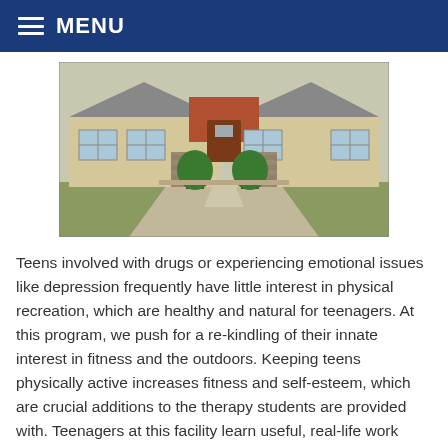MENU
[Figure (photo): Exterior photo of a single-story residential building with stone columns, two potted trees, a covered porch, and a concrete driveway.]
Teens involved with drugs or experiencing emotional issues like depression frequently have little interest in physical recreation, which are healthy and natural for teenagers. At this program, we push for a re-kindling of their innate interest in fitness and the outdoors. Keeping teens physically active increases fitness and self-esteem, which are crucial additions to the therapy students are provided with. Teenagers at this facility learn useful, real-life work skills. This teaches trustworthiness and accountability, as well as